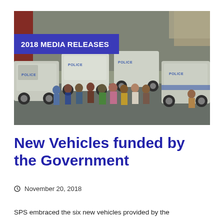[Figure (photo): Group of Samoa Police Service (SPS) officers and staff standing in front of multiple police vehicles in a parking area. A blue banner overlay reads '2018 MEDIA RELEASES'.]
New Vehicles funded by the Government
November 20, 2018
SPS embraced the six new vehicles provided by the